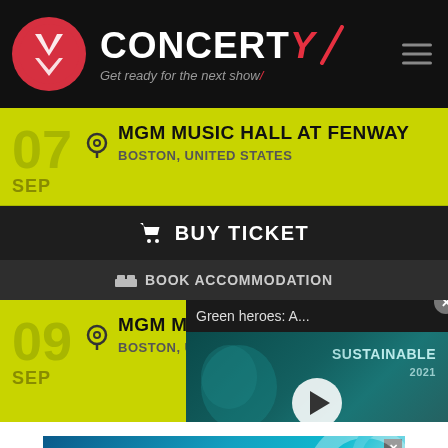[Figure (screenshot): Concerty website screenshot showing logo with red circle icon and the text CONCERTY with tagline 'Get ready for the next show', hamburger menu icon, two concert event listings for MGM Music Hall at Fenway, Boston, United States on Sep 07 and Sep 09, Buy Ticket and Book Accommodation buttons, a video popup overlay for 'Green heroes: A...' showing a sustainable video thumbnail with play button, and a HEADERBIDDING.COM advertisement banner at the bottom]